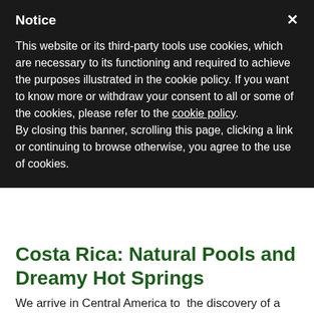Notice
This website or its third-party tools use cookies, which are necessary to its functioning and required to achieve the purposes illustrated in the cookie policy. If you want to know more or withdraw your consent to all or some of the cookies, please refer to the cookie policy.
By closing this banner, scrolling this page, clicking a link or continuing to browse otherwise, you agree to the use of cookies.
Costa Rica: Natural Pools and Dreamy Hot Springs
We arrive in Central America to  the discovery of a wonderful small country: Costa Rica looks like a paradise on earth, some say